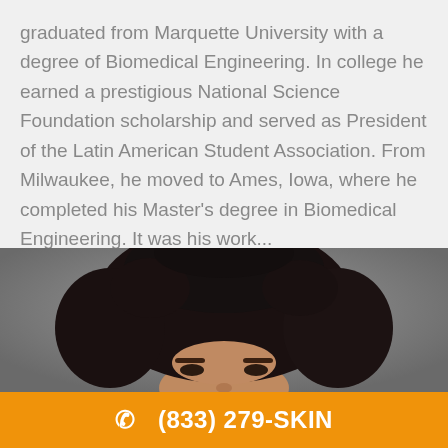graduated from Marquette University with a degree of Biomedical Engineering. In college he earned a prestigious National Science Foundation scholarship and served as President of the Latin American Student Association. From Milwaukee, he moved to Ames, Iowa, where he completed his Master's degree in Biomedical Engineering. It was his work...
[Figure (photo): Headshot photo of a young man with dark curly hair against a gray background]
(833) 279-SKIN